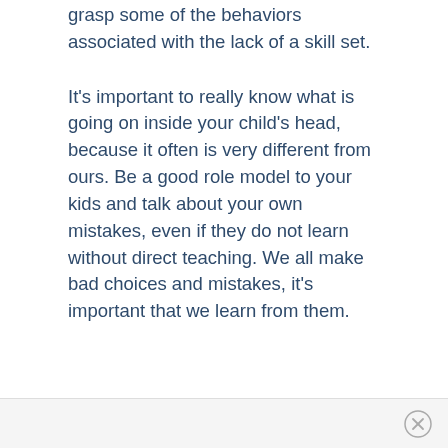grasp some of the behaviors associated with the lack of a skill set.
It's important to really know what is going on inside your child's head, because it often is very different from ours. Be a good role model to your kids and talk about your own mistakes, even if they do not learn without direct teaching. We all make bad choices and mistakes, it's important that we learn from them.